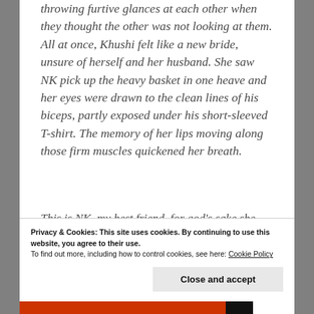throwing furtive glances at each other when they thought the other was not looking at them. All at once, Khushi felt like a new bride, unsure of herself and her husband. She saw NK pick up the heavy basket in one heave and her eyes were drawn to the clean lines of his biceps, partly exposed under his short-sleeved T-shirt. The memory of her lips moving along those firm muscles quickened her breath.
This is NK, my best friend, for god's sake she reminded
Privacy & Cookies: This site uses cookies. By continuing to use this website, you agree to their use.
To find out more, including how to control cookies, see here: Cookie Policy
Close and accept